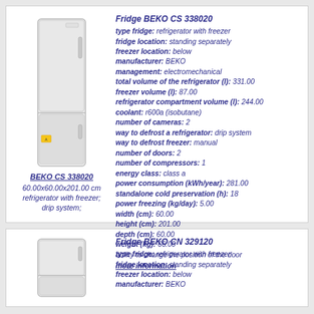[Figure (illustration): Photo of BEKO CS 338020 refrigerator with freezer, white, tall unit]
BEKO CS 338020
60.00x60.00x201.00 cm
refrigerator with freezer;
drip system;
Fridge BEKO CS 338020
type fridge: refrigerator with freezer
fridge location: standing separately
freezer location: below
manufacturer: BEKO
management: electromechanical
total volume of the refrigerator (l): 331.00
freezer volume (l): 87.00
refrigerator compartment volume (l): 244.00
coolant: r600a (isobutane)
number of cameras: 2
way to defrost a refrigerator: drip system
way to defrost freezer: manual
number of doors: 2
number of compressors: 1
energy class: class a
power consumption (kWh/year): 281.00
standalone cold preservation (h): 18
power freezing (kg/day): 5.00
width (cm): 60.00
height (cm): 201.00
depth (cm): 60.00
weight (kg): 66.00
ability to change the position of the door
more information
[Figure (illustration): Photo of BEKO CN 329120 refrigerator (partial, cut off)]
Fridge BEKO CN 329120
type fridge: refrigerator with freezer
fridge location: standing separately
freezer location: below
manufacturer: BEKO